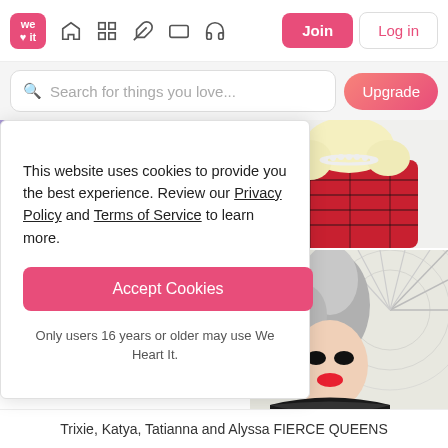We Heart It navigation bar with logo, icons (home, grid, edit, card, headphones), Join and Log in buttons
Search for things you love...
[Figure (screenshot): Screenshot of We Heart It social platform showing cookie consent dialog and photo grid with drag queens]
This website uses cookies to provide you the best experience. Review our Privacy Policy and Terms of Service to learn more.
Accept Cookies
Only users 16 years or older may use We Heart It.
Trixie, Katya, Tatianna and Alyssa FIERCE QUEENS